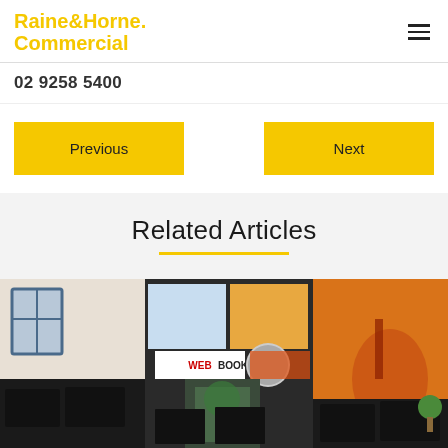Raine&Horne. Commercial
02 9258 5400
Previous
Next
Related Articles
[Figure (photo): Interior photo of a commercial office/retail space showing workstations with monitors, a storefront with WEBBOOKS signage, digital display screens, and colorful wall graphics]